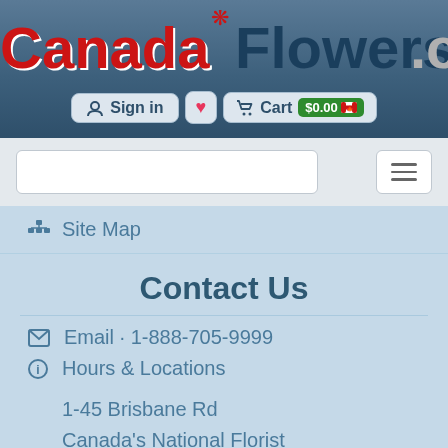CanadaFlowers.CA — Sign in | Cart $0.00
Site Map
Contact Us
Email · 1-888-705-9999
Hours & Locations
1-45 Brisbane Rd
Canada's National Florist
Toronto, ON M3J 2K1
Save Money
Get Discounts & Offers